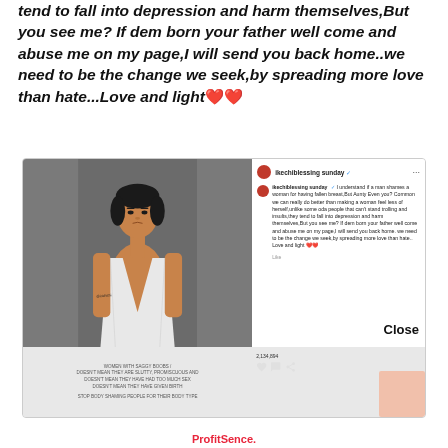tend to fall into depression and harm themselves,But you see me? If dem born your father well come and abuse me on my page,I will send you back home..we need to be the change we seek,by spreading more love than hate...Love and light ❤️❤️
[Figure (screenshot): Screenshot of an Instagram post by ikechiblessing sunday showing an illustration of a woman in a white vest top and the post text about body shaming, with a Close button visible]
ProfitSence.